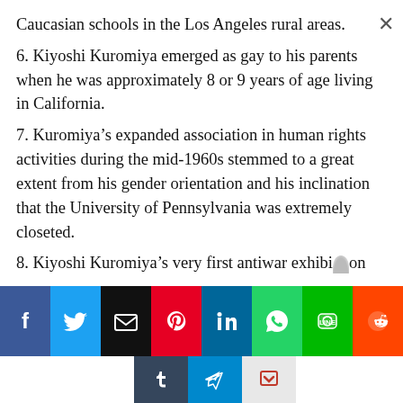Caucasian schools in the Los Angeles rural areas.
6. Kiyoshi Kuromiya emerged as gay to his parents when he was approximately 8 or 9 years of age living in California.
7. Kuromiya’s expanded association in human rights activities during the mid-1960s stemmed to a great extent from his gender orientation and his inclination that the University of Pennsylvania was extremely closeted.
8. Kiyoshi Kuromiya’s very first antiwar exhibition
[Figure (infographic): Social media sharing buttons bar at bottom: Facebook (blue), Twitter (light blue), Email (black), Pinterest (red), LinkedIn (dark blue), WhatsApp (green), Line (green), Reddit (orange) in top row; Tumblr (dark blue), Telegram (blue), Pocket (light gray) in bottom row centered.]